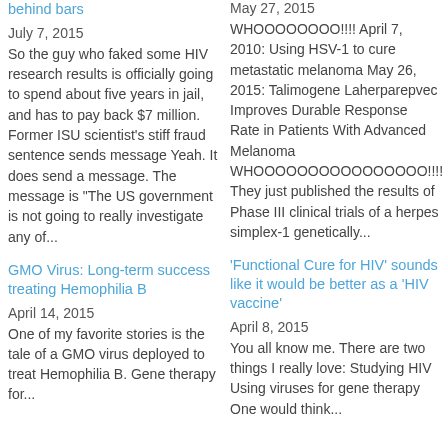behind bars
July 7, 2015
So the guy who faked some HIV research results is officially going to spend about five years in jail, and has to pay back $7 million. Former ISU scientist's stiff fraud sentence sends message Yeah. It does send a message. The message is "The US government is not going to really investigate any of...
GMO Virus: Long-term success treating Hemophilia B
April 14, 2015
One of my favorite stories is the tale of a GMO virus deployed to treat Hemophilia B. Gene therapy for...
May 27, 2015
WHOOOOOOOO!!!! April 7, 2010: Using HSV-1 to cure metastatic melanoma May 26, 2015: Talimogene Laherparepvec Improves Durable Response Rate in Patients With Advanced Melanoma WHOOOOOOOOOOOOOOOO!!!! They just published the results of Phase III clinical trials of a herpes simplex-1 genetically...
'Functional Cure for HIV' sounds like it would be better as a 'HIV vaccine'
April 8, 2015
You all know me. There are two things I really love: Studying HIV Using viruses for gene therapy One would think...